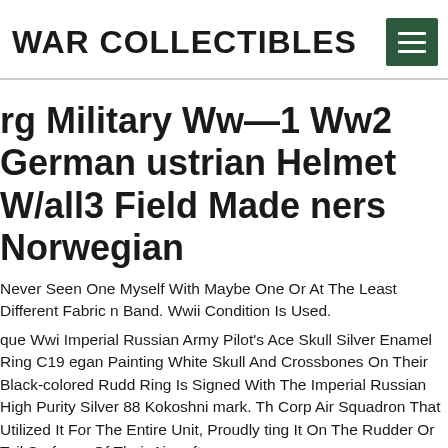WAR COLLECTIBLES
rg Military Ww—1 Ww2 German ustrian Helmet W/all3 Field Made ners Norwegian
Never Seen One Myself With Maybe One Or At The Least Different Fabric n Band. Wwii Condition Is Used.
que Wwi Imperial Russian Army Pilot's Ace Skull Silver Enamel Ring C19 egan Painting White Skull And Crossbones On Their Black-colored Rudd Ring Is Signed With The Imperial Russian High Purity Silver 88 Kokoshni mark. Th Corp Air Squadron That Utilized It For The Entire Unit, Proudly ting It On The Rudder Or Tail Surfaces Of Their Aircraft.
wi Russian Sword Shashka fficiale Sdbar M1000 V... D...